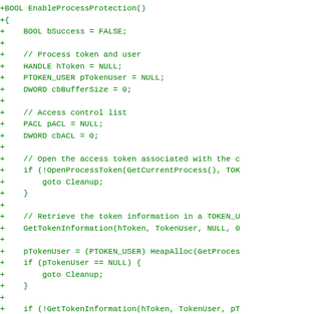Code diff showing EnableProcessProtection() function implementation in C/C++